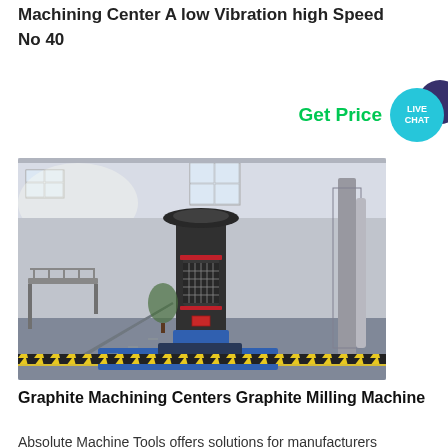Machining Center A low Vibration high Speed No 40
Get Price
[Figure (photo): Industrial milling/grinding machine (graphite machining center) in a factory hall with steel structure, staircases, and large windows.]
Graphite Machining Centers Graphite Milling Machine
Absolute Machine Tools offers solutions for manufacturers machining graphite and